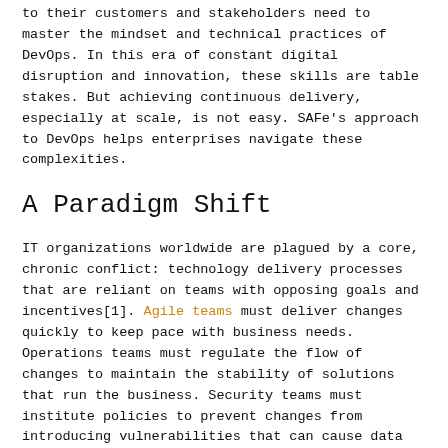to their customers and stakeholders need to master the mindset and technical practices of DevOps. In this era of constant digital disruption and innovation, these skills are table stakes. But achieving continuous delivery, especially at scale, is not easy. SAFe's approach to DevOps helps enterprises navigate these complexities.
A Paradigm Shift
IT organizations worldwide are plagued by a core, chronic conflict: technology delivery processes that are reliant on teams with opposing goals and incentives[1]. Agile teams must deliver changes quickly to keep pace with business needs. Operations teams must regulate the flow of changes to maintain the stability of solutions that run the business. Security teams must institute policies to prevent changes from introducing vulnerabilities that can cause data breaches.